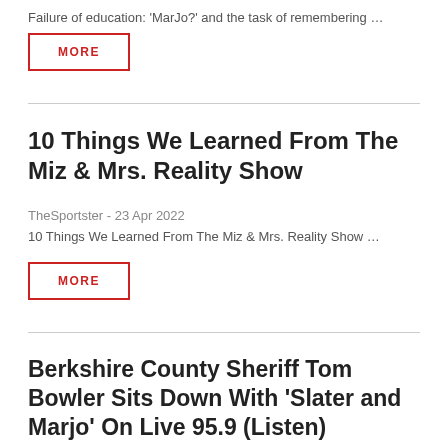Failure of education: 'MarJo?' and the task of remembering …
MORE
10 Things We Learned From The Miz & Mrs. Reality Show
TheSportster - 23 Apr 2022
10 Things We Learned From The Miz & Mrs. Reality Show …
MORE
Berkshire County Sheriff Tom Bowler Sits Down With 'Slater and Marjo' On Live 95.9 (Listen)